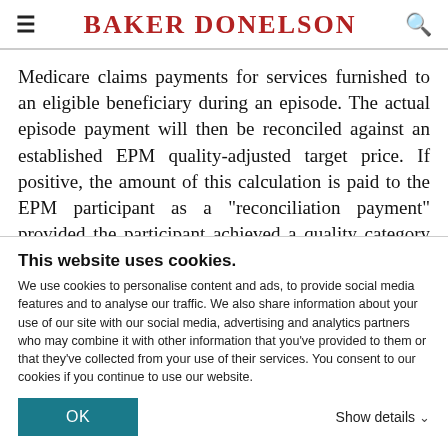BAKER DONELSON
Medicare claims payments for services furnished to an eligible beneficiary during an episode. The actual episode payment will then be reconciled against an established EPM quality-adjusted target price. If positive, the amount of this calculation is paid to the EPM participant as a "reconciliation payment" provided the participant achieved a quality category of "acceptable" or higher. If the calculation results in a
This website uses cookies.
We use cookies to personalise content and ads, to provide social media features and to analyse our traffic. We also share information about your use of our site with our social media, advertising and analytics partners who may combine it with other information that you've provided to them or that they've collected from your use of their services. You consent to our cookies if you continue to use our website.